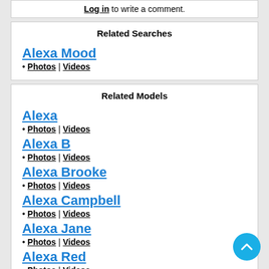Log in to write a comment.
Related Searches
Alexa Mood
• Photos | Videos
Related Models
Alexa
• Photos | Videos
Alexa B
• Photos | Videos
Alexa Brooke
• Photos | Videos
Alexa Campbell
• Photos | Videos
Alexa Jane
• Photos | Videos
Alexa Red
• Photos | Videos